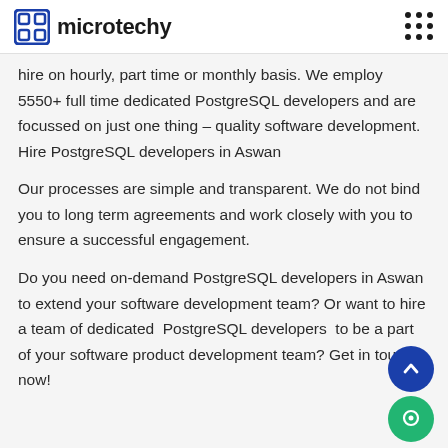microtechy
hire on hourly, part time or monthly basis. We employ 5550+ full time dedicated PostgreSQL developers and are focussed on just one thing – quality software development. Hire PostgreSQL developers in Aswan
Our processes are simple and transparent. We do not bind you to long term agreements and work closely with you to ensure a successful engagement.
Do you need on-demand PostgreSQL developers in Aswan to extend your software development team? Or want to hire a team of dedicated PostgreSQL developers to be a part of your software product development team? Get in touch now!